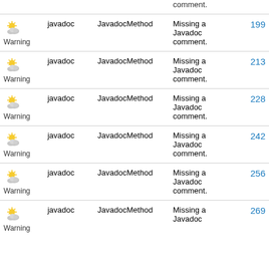| Severity | Category | Rule | Message | Line |
| --- | --- | --- | --- | --- |
| Warning | javadoc | JavadocMethod | Missing a Javadoc comment. | 199 |
| Warning | javadoc | JavadocMethod | Missing a Javadoc comment. | 213 |
| Warning | javadoc | JavadocMethod | Missing a Javadoc comment. | 228 |
| Warning | javadoc | JavadocMethod | Missing a Javadoc comment. | 242 |
| Warning | javadoc | JavadocMethod | Missing a Javadoc comment. | 256 |
| Warning | javadoc | JavadocMethod | Missing a Javadoc comment. | 269 |